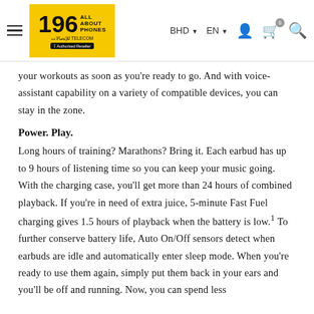196 All About Phones Telecom — BHD EN navigation header
your workouts as soon as you're ready to go. And with voice-assistant capability on a variety of compatible devices, you can stay in the zone.
Power. Play.
Long hours of training? Marathons? Bring it. Each earbud has up to 9 hours of listening time so you can keep your music going. With the charging case, you'll get more than 24 hours of combined playback. If you're in need of extra juice, 5-minute Fast Fuel charging gives 1.5 hours of playback when the battery is low.¹ To further conserve battery life, Auto On/Off sensors detect when earbuds are idle and automatically enter sleep mode. When you're ready to use them again, simply put them back in your ears and you'll be off and running. Now, you can spend less